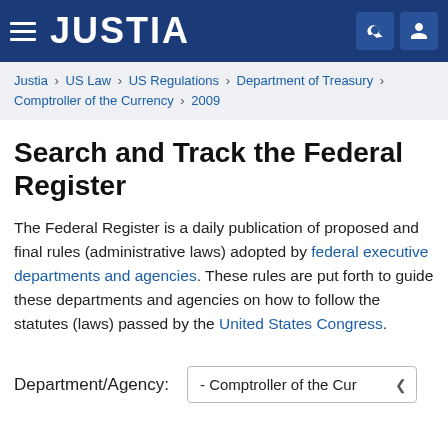JUSTIA
Justia › US Law › US Regulations › Department of Treasury › Comptroller of the Currency › 2009
Search and Track the Federal Register
The Federal Register is a daily publication of proposed and final rules (administrative laws) adopted by federal executive departments and agencies. These rules are put forth to guide these departments and agencies on how to follow the statutes (laws) passed by the United States Congress.
Department/Agency:   - Comptroller of the Cur